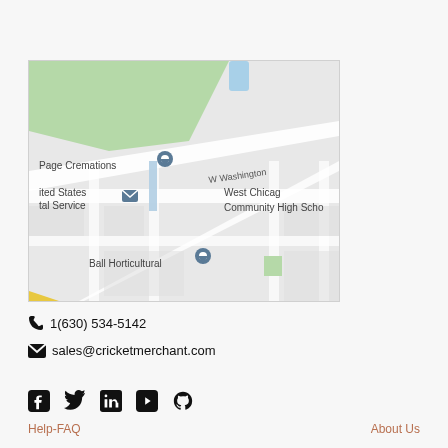[Figure (map): Google Maps view showing West Chicago area with markers for Page Cremations, United States Postal Service, Ball Horticultural, and West Chicago Community High School. W Washington St visible.]
1(630) 534-5142
sales@cricketmerchant.com
[Figure (infographic): Social media icons: Facebook, Twitter, LinkedIn, YouTube, GitHub]
Help-FAQ
About Us